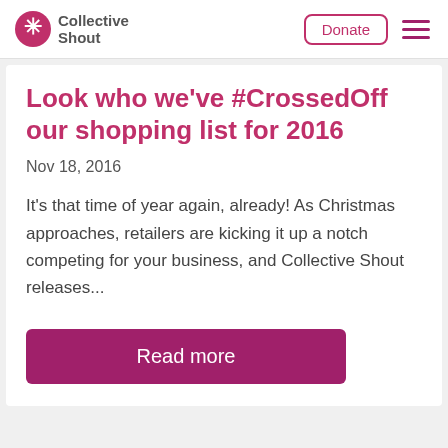Collective Shout | Donate | [menu]
Look who we've #CrossedOff our shopping list for 2016
Nov 18, 2016
It's that time of year again, already! As Christmas approaches, retailers are kicking it up a notch competing for your business, and Collective Shout releases...
Read more